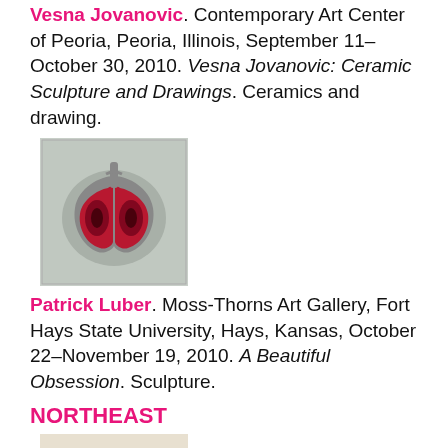Vesna Jovanovic. Contemporary Art Center of Peoria, Peoria, Illinois, September 11–October 30, 2010. Vesna Jovanovic: Ceramic Sculpture and Drawings. Ceramics and drawing.
[Figure (photo): Small square thumbnail image showing a ceramic sculpture of lungs in red and dark tones, on a light gray background.]
Patrick Luber. Moss-Thorns Art Gallery, Fort Hays State University, Hays, Kansas, October 22–November 19, 2010. A Beautiful Obsession. Sculpture.
NORTHEAST
[Figure (photo): Small square thumbnail image showing a still life sculpture with a skull, dark spherical object, and other objects on a light background.]
Cynthia Greig. Clark Gallery, Lincoln, Massachusetts, November 2–27, 2010. Nature Morte.